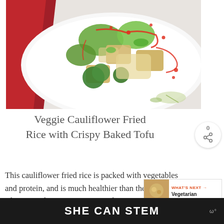[Figure (photo): Overhead photo of Veggie Cauliflower Fried Rice with Crispy Baked Tofu on a decorative white plate, drizzled with red sauce, surrounded by a red cloth napkin on a light wood surface.]
Veggie Cauliflower Fried Rice with Crispy Baked Tofu
This cauliflower fried rice is packed with vegetables and protein, and is much healthier than the classic Chinese takeout version.   Pin the Recipe I am so excited
SHE CAN STEM